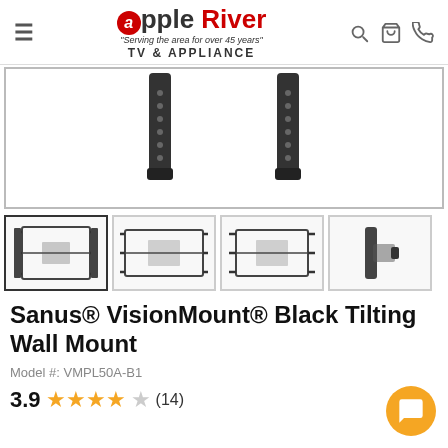Apple River TV & APPLIANCE — navigation header
[Figure (photo): Main product image area showing partial view of TV wall mount brackets (tilting mount) on white background]
[Figure (photo): Thumbnail 1 (active/selected): Front-angle view of Sanus VisionMount tilting wall mount bracket, black]
[Figure (photo): Thumbnail 2: Front view of Sanus VisionMount tilting wall mount bracket, flat/straight]
[Figure (photo): Thumbnail 3: Front view of Sanus VisionMount tilting wall mount bracket, wider angle]
[Figure (photo): Thumbnail 4: Side/profile view of Sanus VisionMount tilting wall mount bracket]
Sanus® VisionMount® Black Tilting Wall Mount
Model #: VMPL50A-B1
3.9  ★★★★☆  (14)